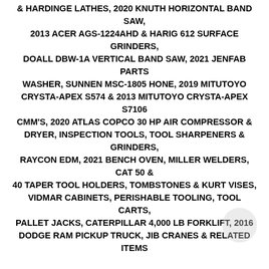& HARDINGE LATHES, 2020 KNUTH HORIZONTAL BAND SAW, 2013 ACER AGS-1224AHD & HARIG 612 SURFACE GRINDERS, DOALL DBW-1A VERTICAL BAND SAW, 2021 JENFAB PARTS WASHER, SUNNEN MSC-1805 HONE, 2019 MITUTOYO CRYSTA-APEX S574 & 2013 MITUTOYO CRYSTA-APEX S7106 CMM'S, 2020 ATLAS COPCO 30 HP AIR COMPRESSOR & DRYER, INSPECTION TOOLS, TOOL SHARPENERS & GRINDERS, RAYCON EDM, 2021 BENCH OVEN, MILLER WELDERS, CAT 50 & 40 TAPER TOOL HOLDERS, TOMBSTONES & KURT VISES, VIDMAR CABINETS, PERISHABLE TOOLING, TOOL CARTS, PALLET JACKS, CATERPILLAR 4,000 LB FORKLIFT, 2016 DODGE RAM PICKUP TRUCK, JIB CRANES & RELATED ITEMS
ONLINE AUCTION: TUESDAY, JULY 26 STARTING AT 10:00 AM PDT
INSPECTION: MONDAY, JULY 25 FROM 9:00 AM TO 3:00 PM PDT
PAYMENT TERMS: NO DEBIT OR CREDIT CARDS! CASHIER'S